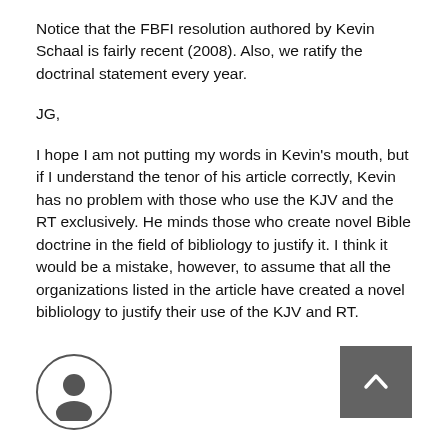Notice that the FBFI resolution authored by Kevin Schaal is fairly recent (2008). Also, we ratify the doctrinal statement every year.
JG,
I hope I am not putting my words in Kevin's mouth, but if I understand the tenor of his article correctly, Kevin has no problem with those who use the KJV and the RT exclusively. He minds those who create novel Bible doctrine in the field of bibliology to justify it. I think it would be a mistake, however, to assume that all the organizations listed in the article have created a novel bibliology to justify their use of the KJV and RT.
Pastor Mike Harding
[Figure (illustration): User avatar circle icon with person silhouette]
[Figure (illustration): Back to top button, dark grey square with white upward chevron arrow]